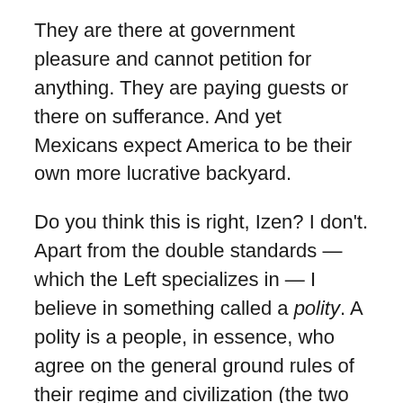They are there at government pleasure and cannot petition for anything. They are paying guests or there on sufferance. And yet Mexicans expect America to be their own more lucrative backyard.
Do you think this is right, Izen? I don't. Apart from the double standards — which the Left specializes in — I believe in something called a polity. A polity is a people, in essence, who agree on the general ground rules of their regime and civilization (the two overlap but are not the same). You would allow the polity and the sovereignty that goes with it to be wiped out extra-legally by a very minimal economic input. I'm sorry, but that will not wash — not in a million